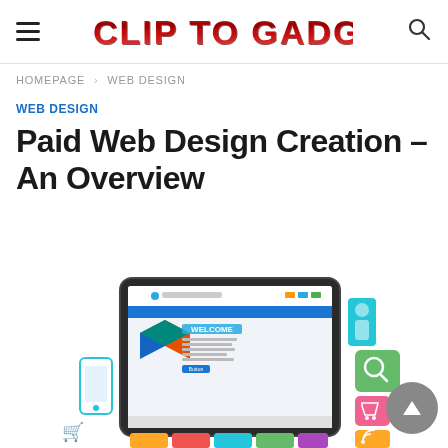CLIP TO GADGET
HOMEPAGE > WEB DESIGN
WEB DESIGN
Paid Web Design Creation – An Overview
[Figure (illustration): Illustration of a tablet showing a website design with 'WELCOME' text, surrounded by colorful app/device icons (phone, shopping cart, RSS, search) on a white background. A gray scroll-to-top arrow button is visible in the bottom right.]